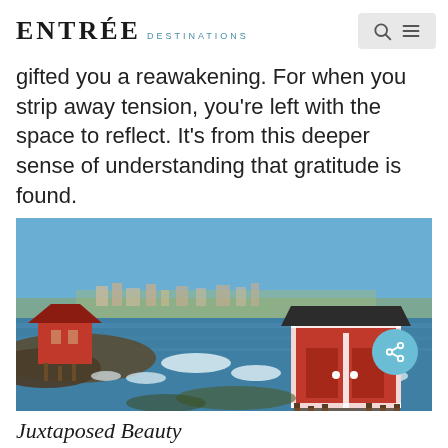ENTRÉE DESTINATIONS
gifted you a reawakening. For when you strip away tension, you're left with the space to reflect. It's from this deeper sense of understanding that gratitude is found.
[Figure (photo): Coastal scene with red wooden buildings/boathouses on rocky shore, icy water with ice floes, town visible in background under blue sky.]
Juxtaposed Beauty
Floating on the outer shore of